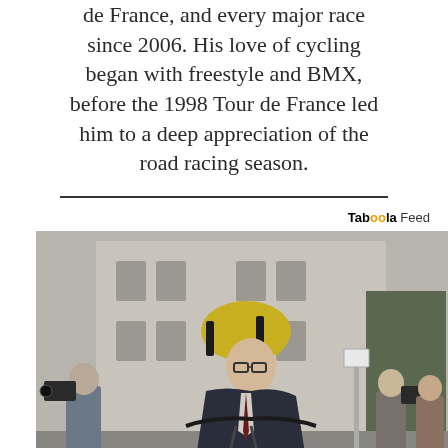de France, and every major race since 2006. His love of cycling began with freestyle and BMX, before the 1998 Tour de France led him to a deep appreciation of the road racing season.
[Figure (photo): A man wearing a yellow and black cycling helmet and dark suit jacket rides a bicycle on a city street. Several photographers and onlookers stand in the background near a large classical building.]